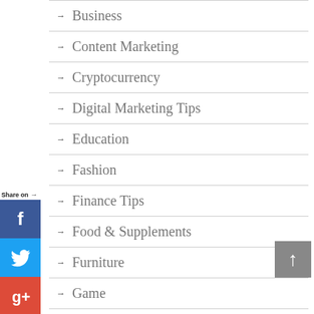Business
Content Marketing
Cryptocurrency
Digital Marketing Tips
Education
Fashion
Finance Tips
Food & Supplements
Furniture
Game
General Tips